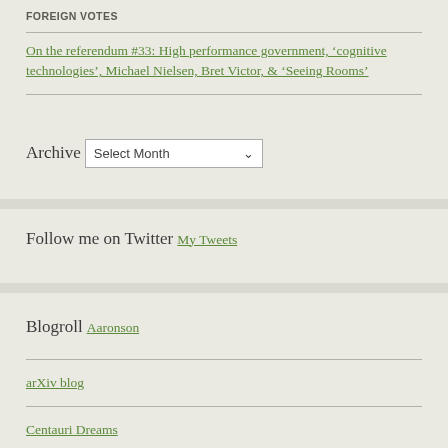FOREIGN VOTES
On the referendum #33: High performance government, ‘cognitive technologies’, Michael Nielsen, Bret Victor, & ‘Seeing Rooms’
Archive
Select Month
Follow me on Twitter
My Tweets
Blogroll
Aaronson
arXiv blog
Centauri Dreams